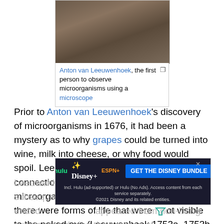[Figure (photo): Historical portrait photograph of Anton van Leeuwenhoek, sepia-toned black and white image showing a person in period clothing]
Anton van Leeuwenhoek, the first person to observe microorganisms using a microscope
Prior to Anton van Leeuwenhoek's discovery of microorganisms in 1676, it had been a mystery as to why grapes could be turned into wine, milk into cheese, or why food would spoil. Leeuwenhoek did not make the connection between these processes and microorganisms, but he did establish that there were forms of life that were not visible to the naked eye (Leeuwenhoek 1753a, 1753b).
Leeuwenhoek's discovery, along with subsequent observ... eur, ended... appeared from non-living substances during the process of
[Figure (screenshot): Advertisement banner for Disney Bundle (Hulu, Disney+, ESPN+) with dark background and blue call-to-action button reading GET THE DISNEY BUNDLE]